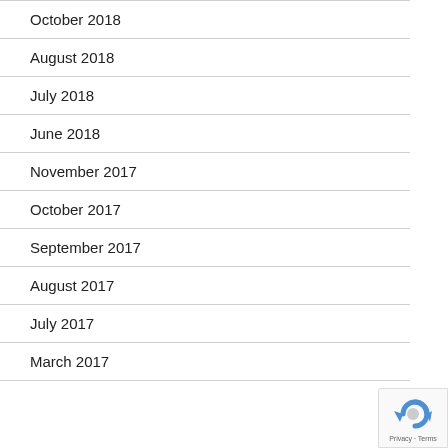October 2018
August 2018
July 2018
June 2018
November 2017
October 2017
September 2017
August 2017
July 2017
March 2017